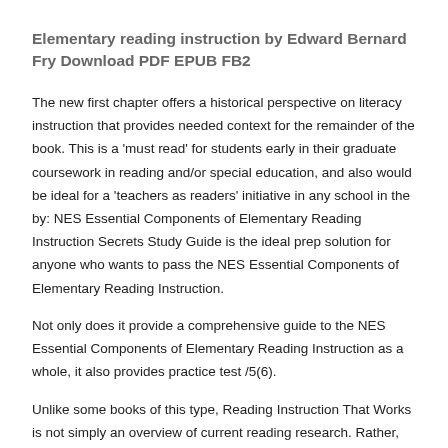Elementary reading instruction by Edward Bernard Fry Download PDF EPUB FB2
The new first chapter offers a historical perspective on literacy instruction that provides needed context for the remainder of the book. This is a 'must read' for students early in their graduate coursework in reading and/or special education, and also would be ideal for a 'teachers as readers' initiative in any school in the by: NES Essential Components of Elementary Reading Instruction Secrets Study Guide is the ideal prep solution for anyone who wants to pass the NES Essential Components of Elementary Reading Instruction.
Not only does it provide a comprehensive guide to the NES Essential Components of Elementary Reading Instruction as a whole, it also provides practice test /5(6).
Unlike some books of this type, Reading Instruction That Works is not simply an overview of current reading research. Rather, Pressley includes much discussion of what the research means to the individual